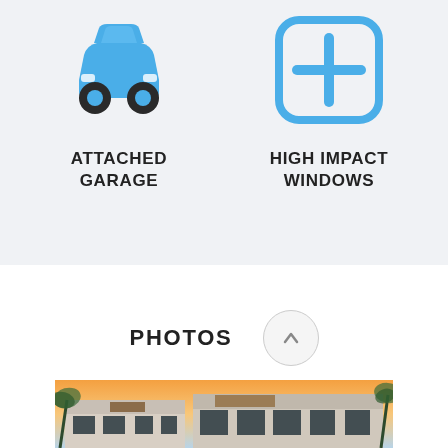[Figure (illustration): Blue car icon representing attached garage feature]
ATTACHED GARAGE
[Figure (illustration): Blue rounded square with plus sign icon representing high impact windows feature]
HIGH IMPACT WINDOWS
PHOTOS
[Figure (photo): Exterior photo of a modern house with palm trees at sunset/dusk]